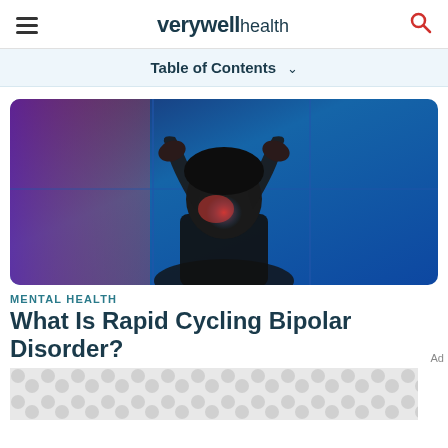verywell health
Table of Contents
[Figure (photo): Person with hands on head in distress, photographed in dramatic blue and red lighting against a blue tiled wall background]
MENTAL HEALTH
What Is Rapid Cycling Bipolar Disorder?